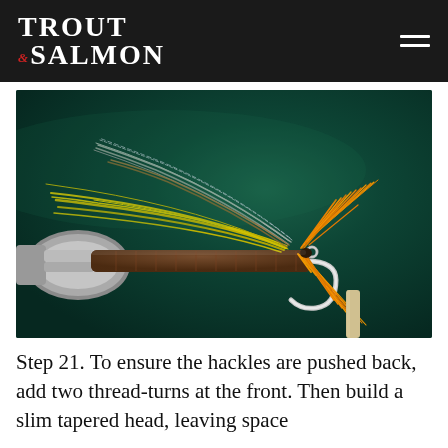Trout & Salmon
[Figure (photo): Close-up photograph of a fly fishing lure (salmon fly) held in a fly-tying vise against a dark green background. The fly features orange hackles, yellow and grey wing feathers, and a brown body on a silver hook.]
Step 21. To ensure the hackles are pushed back, add two thread-turns at the front. Then build a slim tapered head, leaving space